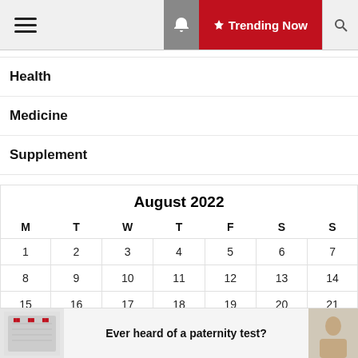≡  🔔  Trending Now  🔍
Health
Medicine
Supplement
|  | M | T | W | T | F | S | S |
| --- | --- | --- | --- | --- | --- | --- | --- |
| August 2022 |  |  |  |  |  |  |  |
|  | 1 | 2 | 3 | 4 | 5 | 6 | 7 |
|  | 8 | 9 | 10 | 11 | 12 | 13 | 14 |
|  | 15 | 16 | 17 | 18 | 19 | 20 | 21 |
Ever heard of a paternity test?